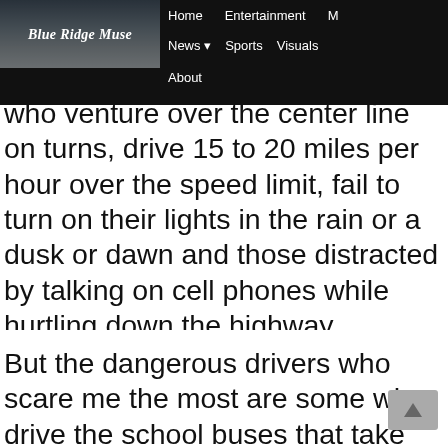Blue Ridge Muse — Home | Entertainment | M | News | Sports | Visuals | About
who venture over the center line on turns, drive 15 to 20 miles per hour over the speed limit, fail to turn on their lights in the rain or a dusk or dawn and those distracted by talking on cell phones while hurtling down the highway.
But the dangerous drivers who scare me the most are some who drive the school buses that take our children to and from